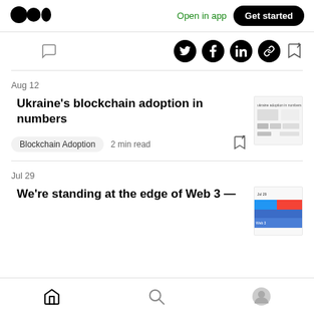Medium — Open in app | Get started
[Figure (logo): Medium logo (two black circles and a pill shape)]
[Figure (infographic): Action bar with clap, comment, Twitter, Facebook, LinkedIn, link, and bookmark icons]
Aug 12
Ukraine's blockchain adoption in numbers
[Figure (screenshot): Thumbnail image for Ukraine's blockchain adoption in numbers article]
Blockchain Adoption  2 min read
Jul 29
We're standing at the edge of Web 3 —
[Figure (screenshot): Thumbnail image for Web 3 article]
Home | Search | Profile